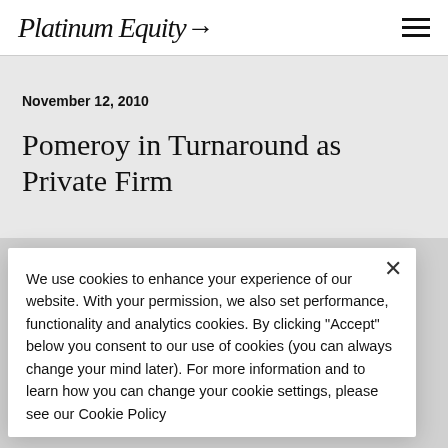Platinum Equity
November 12, 2010
Pomeroy in Turnaround as Private Firm
We use cookies to enhance your experience of our website. With your permission, we also set performance, functionality and analytics cookies. By clicking “Accept” below you consent to our use of cookies (you can always change your mind later). For more information and to learn how you can change your cookie settings, please see our Cookie Policy